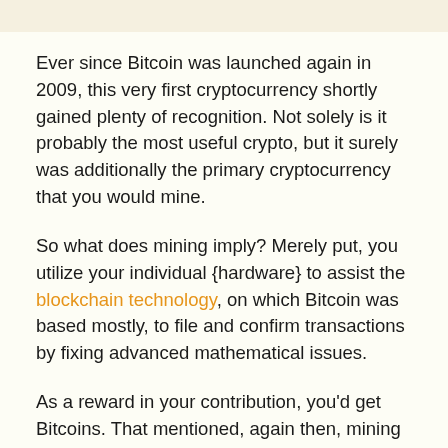Ever since Bitcoin was launched again in 2009, this very first cryptocurrency shortly gained plenty of recognition. Not solely is it probably the most useful crypto, but it surely was additionally the primary cryptocurrency that you would mine.
So what does mining imply? Merely put, you utilize your individual {hardware} to assist the blockchain technology, on which Bitcoin was based mostly, to file and confirm transactions by fixing advanced mathematical issues.
As a reward in your contribution, you'd get Bitcoins. That mentioned, again then, mining was just about seamless. The issues weren't practically as advanced as